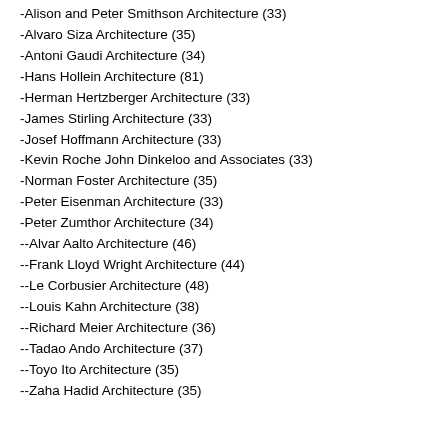-Alison and Peter Smithson Architecture (33)
-Alvaro Siza Architecture (35)
-Antoni Gaudi Architecture (34)
-Hans Hollein Architecture (81)
-Herman Hertzberger Architecture (33)
-James Stirling Architecture (33)
-Josef Hoffmann Architecture (33)
-Kevin Roche John Dinkeloo and Associates (33)
-Norman Foster Architecture (35)
-Peter Eisenman Architecture (33)
-Peter Zumthor Architecture (34)
--Alvar Aalto Architecture (46)
--Frank Lloyd Wright Architecture (44)
--Le Corbusier Architecture (48)
--Louis Kahn Architecture (38)
--Richard Meier Architecture (36)
--Tadao Ando Architecture (37)
--Toyo Ito Architecture (35)
--Zaha Hadid Architecture (35)